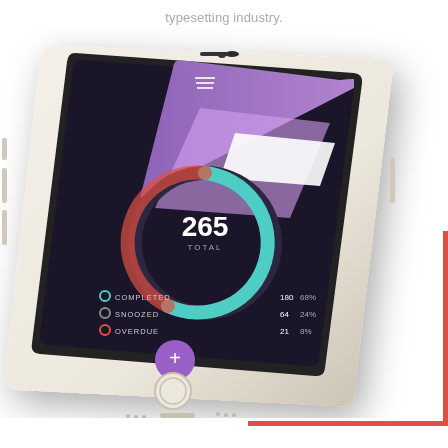typesetting industry.
[Figure (photo): A white gold iPhone displayed at an angle showing a mobile app with a dark background. The app screen shows a donut/ring chart with '265 TOTAL' in the center, with legend items: COMPLETED (180, 68%), SNOOZED (64, 24%), OVERDUE (21, 8%). The top portion of the app shows a purple UI panel. A red L-shaped corner bracket decorates the bottom-right of the image.]